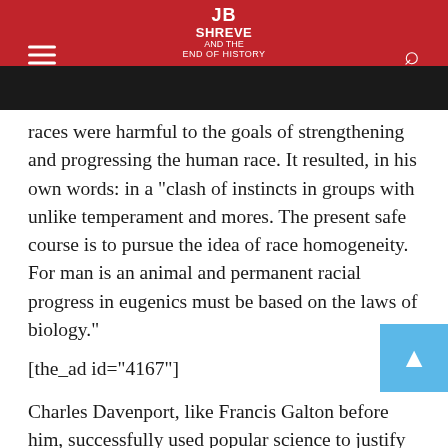JB SHREVE AND THE END OF HISTORY
races were harmful to the goals of strengthening and progressing the human race. It resulted, in his own words: in a “clash of instincts in groups with unlike temperament and mores. The present safe course is to pursue the idea of race homogeneity. For man is an animal and permanent racial progress in eugenics must be based on the laws of biology.”
[the_ad id=“4167”]
Charles Davenport, like Francis Galton before him, successfully used popular science to justify his own racist and bigoted beliefs.